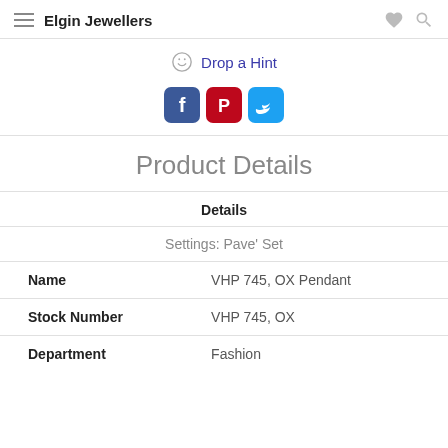Elgin Jewellers
Drop a Hint
[Figure (infographic): Social media share icons: Facebook (blue), Pinterest (red), Twitter (light blue)]
Product Details
Details
Settings: Pave' Set
| Field | Value |
| --- | --- |
| Name | VHP 745, OX Pendant |
| Stock Number | VHP 745, OX |
| Department | Fashion |